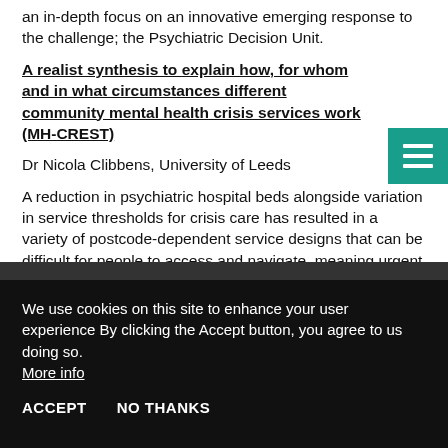an in-depth focus on an innovative emerging response to the challenge; the Psychiatric Decision Unit.
A realist synthesis to explain how, for whom and in what circumstances different community mental health crisis services work (MH-CREST)
Dr Nicola Clibbens, University of Leeds
A reduction in psychiatric hospital beds alongside variation in service thresholds for crisis care has resulted in a variety of postcode-dependent service designs that can be difficult for people to access and navigate, meaning urgent needs are not always met. This study is carrying out a realist evidence synthesis with the collection and analysis of primary (stakeholder engagement) and secondary (realist synthesis) data. Using stakeholder expertise, evidence from
We use cookies on this site to enhance your user experience By clicking the Accept button, you agree to us doing so. More info
ACCEPT   NO THANKS